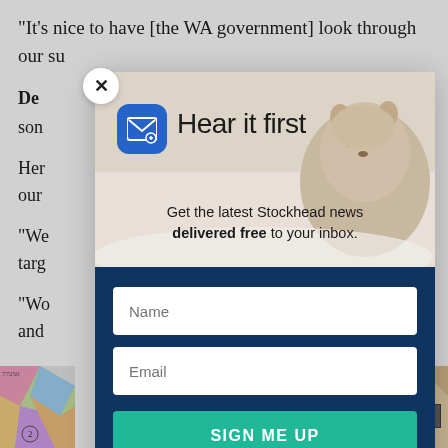“It’s nice to have [the WA government] look through our su…
De…
son…
Her… our…
“We… targ…
“Wo… e – and…
[Figure (screenshot): Email newsletter signup modal popup for Stockhead. Top section shows a marmot/groundhog in a snowy background with a blue email icon and text 'Hear it first'. Subtitle reads 'Get the latest Stockhead news delivered free to your inbox.' Bottom dark blue section contains Name input field, Email input field, and a teal SIGN ME UP button.]
[Figure (map): Partial geological map visible bottom-left and bottom-right corners behind the modal overlay.]